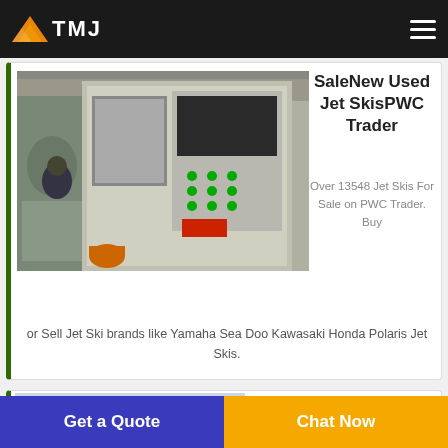TMJ
[Figure (photo): Industrial machine/control panel in factory setting]
SaleNew Used Jet SkisPWC Trader
Over 13548 Jet Skis For Sale on PWC Trader. Buy or Sell Jet Ski brands like Yamaha Sea Doo Kawasaki Honda Polaris Jet Skis.
[Figure (photo): Used trucks for sale - outdoor lot with vehicles]
Used trucks for sale
Get a Quote
Chat Now